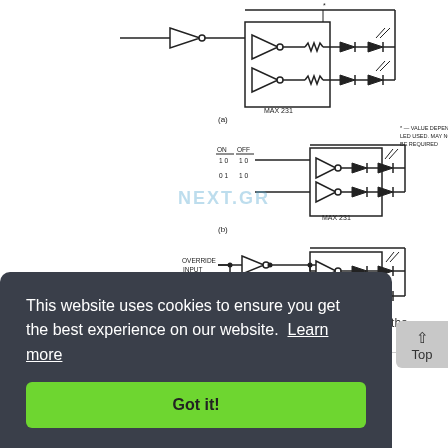[Figure (circuit-diagram): Three circuit diagrams (a), (b), (c) showing MAX 231 LED driver circuits with inverters, diodes, and logic gates. Diagram (a) shows a buffer/inverter chain driving LEDs with a note '* VALUE DEPENDS UPON LED USED. MAY NOT BE REQUIRED'. Diagram (b) shows ON/OFF timing (1 0, 0 1, 1 0) with a MAX 231 driving LEDs. Diagram (c) shows OVERRIDE INPUT with a NAND gate and MAX 231 driving LEDs. Watermark 'NEXT.GR' visible across middle.]
The circuit uses one-half of a dual D flip-flop as an inverter. When the input decreases, the...
This website uses cookies to ensure you get the best experience on our website. Learn more
Got it!